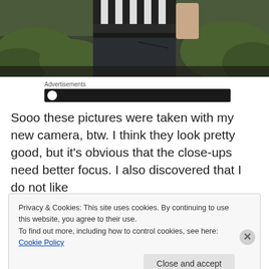[Figure (photo): Partial view of a person wearing a black and white striped shirt and dark jeans, standing outdoors with green foliage in background]
Advertisements
[Figure (other): Dark advertisement banner with circular icon]
Sooo these pictures were taken with my new camera, btw. I think they look pretty good, but it’s obvious that the close-ups need better focus. I also discovered that I do not like
Privacy & Cookies: This site uses cookies. By continuing to use this website, you agree to their use.
To find out more, including how to control cookies, see here: Cookie Policy
Close and accept